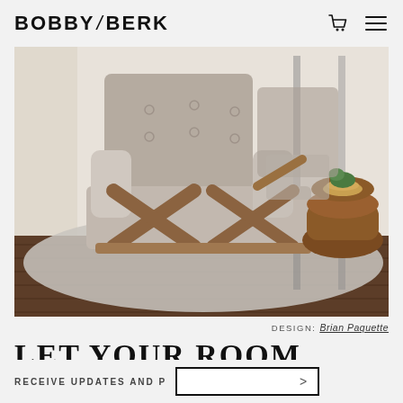BOBBY / BERK
[Figure (photo): Interior design photo showing a mid-century modern lounge chair with wooden X-frame legs and light grey upholstery, a matching chair in background, a wooden sculptural side table with brass bowl and green plant, on a woven rug near a window with dark hardwood floor.]
DESIGN: Brian Paquette
LET YOUR ROOM
RECEIVE UPDATES AND P